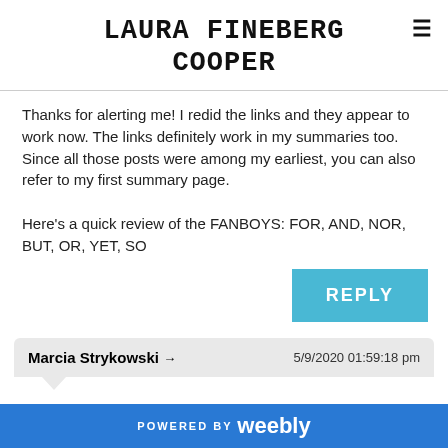LAURA FINEBERG COOPER
Thanks for alerting me! I redid the links and they appear to work now. The links definitely work in my summaries too. Since all those posts were among my earliest, you can also refer to my first summary page.

Here's a quick review of the FANBOYS: FOR, AND, NOR, BUT, OR, YET, SO
REPLY
Marcia Strykowski → 5/9/2020 01:59:18 pm
POWERED BY weebly